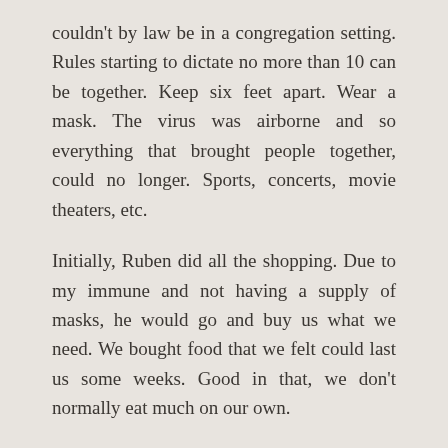couldn't by law be in a congregation setting. Rules starting to dictate no more than 10 can be together. Keep six feet apart. Wear a mask. The virus was airborne and so everything that brought people together, could no longer. Sports, concerts, movie theaters, etc.
Initially, Ruben did all the shopping. Due to my immune and not having a supply of masks, he would go and buy us what we need. We bought food that we felt could last us some weeks. Good in that, we don't normally eat much on our own.
In the beginning of the quarantine, it felt like okay, this is what we have to do. We'll handle it! So did our neighborhood and community. We all felt like